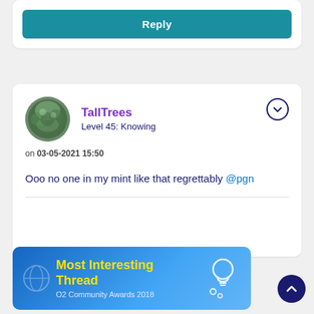Reply
TallTrees
Level 45: Knowing
on 03-05-2021 15:50
Ooo no one in my mint like that regrettably @pgn
[Figure (infographic): O2 Community Awards 2018 - Most Interesting Thread banner with light bulb icon on blue gradient background]
Most Interesting Thread
O2 Community Awards 2018